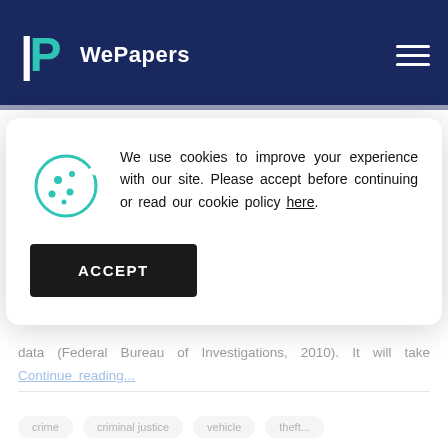WePapers
Victimization Survey (NCVS) in the making of policy decisions. The information finds application in the generation of appropriate
[Figure (screenshot): Cookie consent modal with cookie icon, message about using cookies to improve experience, a link 'here', and an ACCEPT button]
data (Federal Bureau of Investigations, 2010). It will take Continue reading...
[tags row with pills]